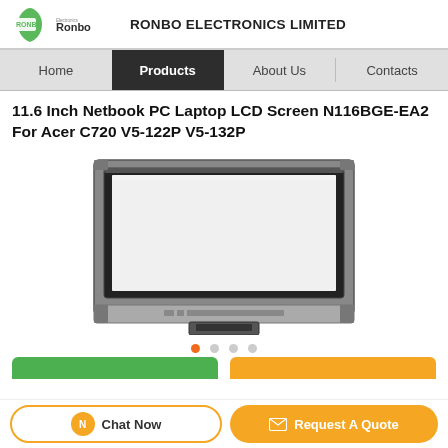RONBO ELECTRONICS LIMITED
11.6 Inch Netbook PC Laptop LCD Screen N116BGE-EA2 For Acer C720 V5-122P V5-132P
[Figure (photo): Product photo of an 11.6 inch laptop LCD screen panel N116BGE-EA2, showing a slim rectangular display with black bezel and connector ribbon at the bottom, viewed from the back.]
Chat Now   Request A Quote